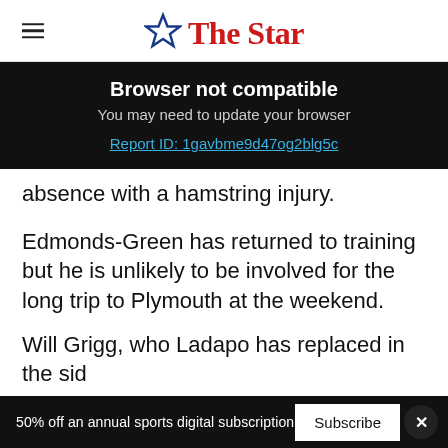The Star
Browser not compatible
You may need to update your browser
Report ID: 1gavbme9d47og2blg5c
absence with a hamstring injury.
Edmonds-Green has returned to training but he is unlikely to be involved for the long trip to Plymouth at the weekend.
Will Grigg, who Ladapo has replaced in the sid
50% off an annual sports digital subscription  Subscribe